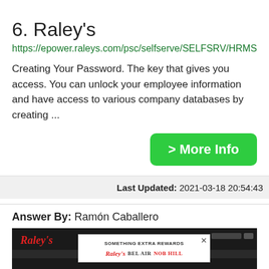6. Raley's
https://epower.raleys.com/psc/selfserve/SELFSRV/HRMS/c/h...
Creating Your Password. The key that gives you access. You can unlock your employee information and have access to various company databases by creating ...
> More Info
Last Updated: 2021-03-18 20:54:43
Answer By: Ramón Caballero
[Figure (screenshot): Screenshot of Raley's website showing a SOMETHING EXTRA REWARDS modal popup with Raley's, Bel Air, and Nob Hill brand logos, over a dark-themed webpage.]